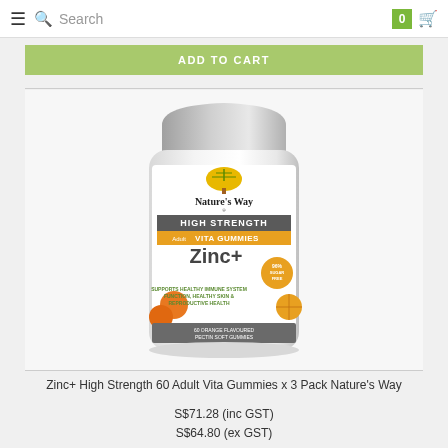≡ 🔍 Search  [0] 🛒
ADD TO CART
[Figure (photo): Nature's Way High Strength Adult Vita Gummies Zinc+ supplement bottle with silver cap, white label showing orange gummies, 96% sugar free badge]
Zinc+ High Strength 60 Adult Vita Gummies x 3 Pack Nature's Way
S$71.28 (inc GST)
S$64.80 (ex GST)